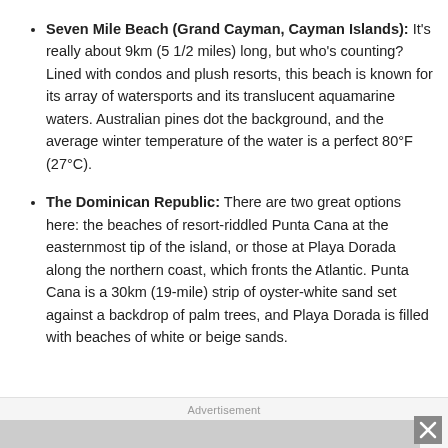Seven Mile Beach (Grand Cayman, Cayman Islands): It's really about 9km (5 1/2 miles) long, but who's counting? Lined with condos and plush resorts, this beach is known for its array of watersports and its translucent aquamarine waters. Australian pines dot the background, and the average winter temperature of the water is a perfect 80°F (27°C).
The Dominican Republic: There are two great options here: the beaches of resort-riddled Punta Cana at the easternmost tip of the island, or those at Playa Dorada along the northern coast, which fronts the Atlantic. Punta Cana is a 30km (19-mile) strip of oyster-white sand set against a backdrop of palm trees, and Playa Dorada is filled with beaches of white or beige sands.
Advertisement